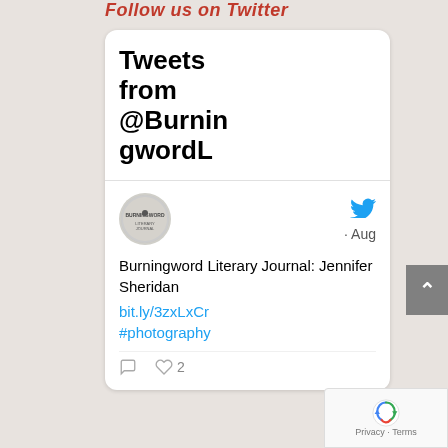Follow us on Twitter
[Figure (screenshot): Twitter/X embedded widget showing 'Tweets from @BurningwordL' header, a tweet from Burningword Literary Journal avatar with Twitter bird icon and 'Aug' date, tweet text 'Burningword Literary Journal: Jennifer Sheridan bit.ly/3zxLxCr #photography', and action icons with 2 likes.]